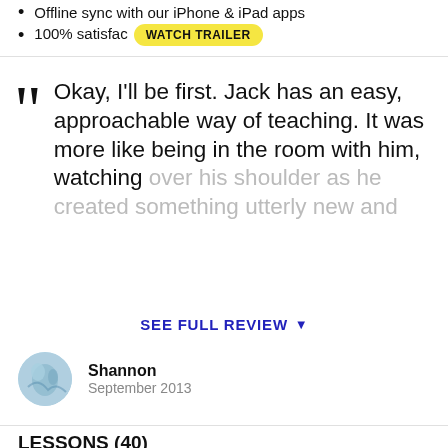Offline sync with our iPhone & iPad apps
100% satisfac… WATCH TRAILER
Okay, I'll be first. Jack has an easy, approachable way of teaching. It was more like being in the room with him, watching over his shoulder as he created something utterly new and…
SEE FULL REVIEW
Shannon
September 2013
LESSONS (40)
Class Trailer   00:30
DAY 1